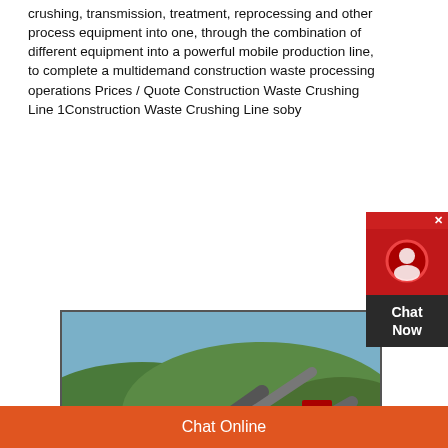crushing, transmission, treatment, reprocessing and other process equipment into one, through the combination of different equipment into a powerful mobile production line, to complete a multidemand construction waste processing operations Prices / Quote Construction Waste Crushing Line 1Construction Waste Crushing Line soby
[Figure (photo): Photo of a construction waste crushing line / mobile processing plant with conveyor belts and heavy machinery set against a hillside background]
construction waste crushing line sqlconsultancynl
Chat Online